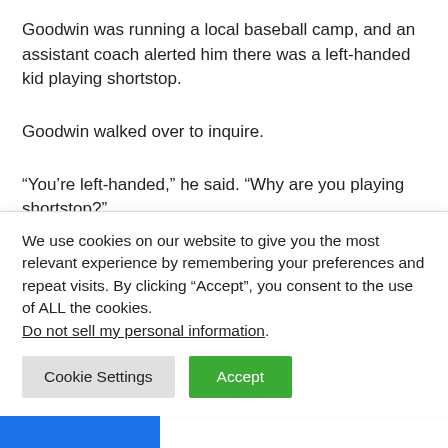Goodwin was running a local baseball camp, and an assistant coach alerted him there was a left-handed kid playing shortstop.
Goodwin walked over to inquire.
“You’re left-handed,” he said. “Why are you playing shortstop?”
In front of a 6-foot-2, 250-pound adult, Greene explained. In a
We use cookies on our website to give you the most relevant experience by remembering your preferences and repeat visits. By clicking “Accept”, you consent to the use of ALL the cookies.
Do not sell my personal information.
Cookie Settings
Accept